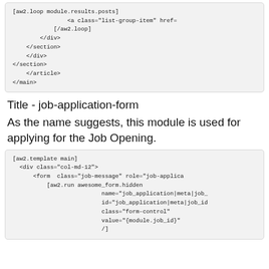[aw2.loop module.results.posts]
                <a class="list-group-item" href=
            [/aw2.loop]
        </div>
    </section>
    </div>
</section>
    </article>
</main>
Title - job-application-form
As the name suggests, this module is used for applying for the Job Opening.
[aw2.template main]
  <div class="col-md-12">
      <form  class="job-message" role="job-applica
          [aw2.run awesome_form.hidden
                          name="job_application|meta|job_
                          id="job_application|meta|job_id
                          class="form-control"
                          value="{module.job_id}"
                          /]